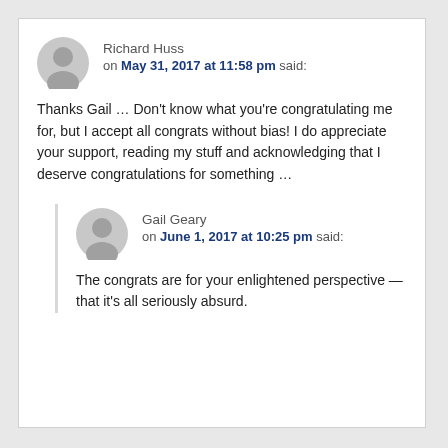Richard Huss
on May 31, 2017 at 11:58 pm said:
Thanks Gail … Don't know what you're congratulating me for, but I accept all congrats without bias! I do appreciate your support, reading my stuff and acknowledging that I deserve congratulations for something …
Gail Geary
on June 1, 2017 at 10:25 pm said:
The congrats are for your enlightened perspective — that it's all seriously absurd.